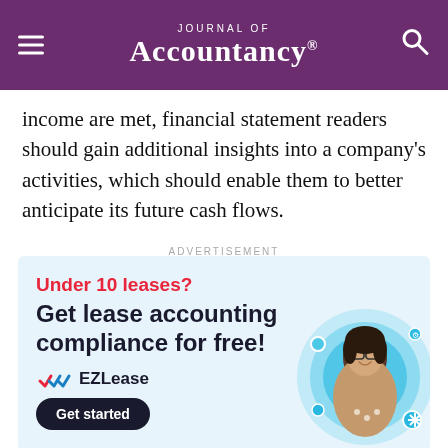Journal of Accountancy
income are met, financial statement readers should gain additional insights into a company's activities, which should enable them to better anticipate its future cash flows.
ADVERTISEMENT
[Figure (illustration): EZLease advertisement with light blue background. Red text: 'Under 10 leases?' followed by dark navy bold text: 'Get lease accounting compliance for free!' Below is the EZLease logo with checkmarks, and a 'Get started' dark button. On the right side is an illustration of a smiling woman with glasses in a blue circular graphic.]